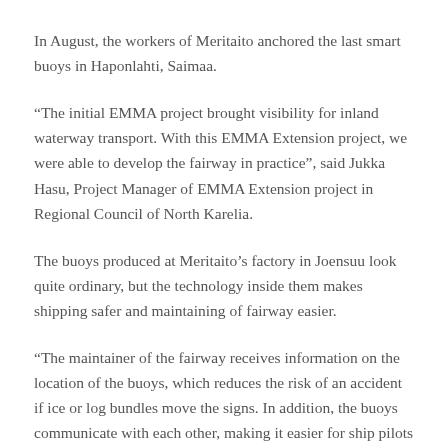In August, the workers of Meritaito anchored the last smart buoys in Haponlahti, Saimaa.
“The initial EMMA project brought visibility for inland waterway transport. With this EMMA Extension project, we were able to develop the fairway in practice”, said Jukka Hasu, Project Manager of EMMA Extension project in Regional Council of North Karelia.
The buoys produced at Meritaito’s factory in Joensuu look quite ordinary, but the technology inside them makes shipping safer and maintaining of fairway easier.
“The maintainer of the fairway receives information on the location of the buoys, which reduces the risk of an accident if ice or log bundles move the signs. In addition, the buoys communicate with each other, making it easier for ship pilots and…